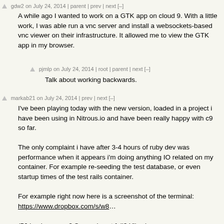gdw2 on July 24, 2014 | parent | prev | next [–]
A while ago I wanted to work on a GTK app on cloud 9. With a little work, I was able run a vnc server and install a websockets-based vnc viewer on their infrastructure. It allowed me to view the GTK app in my browser.
pjmlp on July 24, 2014 | root | parent | next [–]
Talk about working backwards.
markab21 on July 24, 2014 | prev | next [–]
I've been playing today with the new version, loaded in a project i have been using in Nitrous.io and have been really happy with c9 so far.

The only complaint i have after 3-4 hours of ruby dev was performance when it appears i'm doing anything IO related on my container. For example re-seeding the test database, or even startup times of the test rails container.

For example right now here is a screenshot of the terminal: https://www.dropbox.com/s/w8…

(56 load average? Swap almost full? Yikes)

That said, the features are solid and i was able to get up and running very quickly. Assuming the are just having some growing pains from launching the new services today, I'm definitely going to consider switching over to c9.

I haven't checked the forums to see if there is a way to re-launch my project onto a different server to try and get better performance...